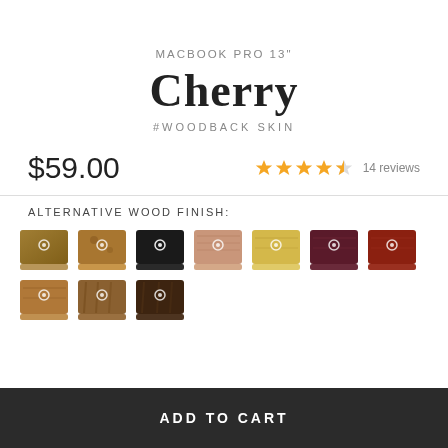MACBOOK PRO 13"
Cherry
#WOODBACK SKIN
$59.00
14 reviews
ALTERNATIVE WOOD FINISH:
[Figure (illustration): Row of 7 MacBook Pro laptop skins in different wood finishes: walnut, knotty pine, black, cedar/light reddish, bamboo/yellow, purpleheart/dark red, cherry/red-brown]
[Figure (illustration): Row of 3 MacBook Pro laptop skins in additional wood finishes: lighter brown, medium brown, dark brown/ebony]
ADD TO CART